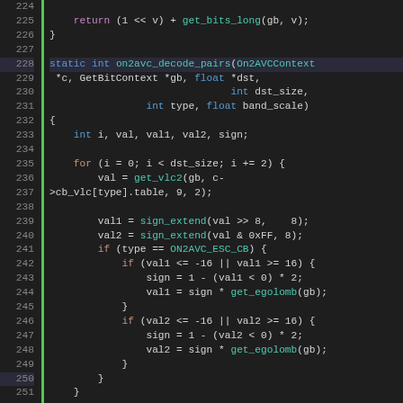[Figure (screenshot): Source code listing in a dark-themed code editor showing C function 'on2avc_decode_pairs', lines 224-253, with syntax highlighting. Line numbers shown in gutter with green vertical bar. Keywords in blue, function names in teal, control flow keywords in orange.]